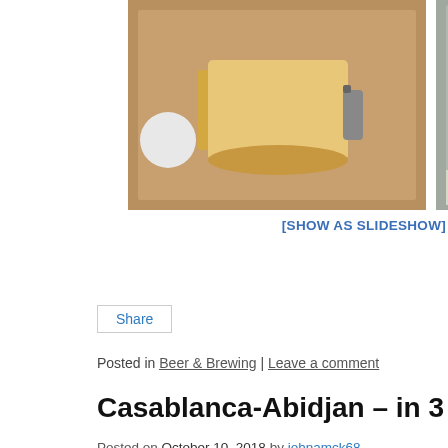[Figure (photo): Strip of 4 photos related to home brewing: a measuring cup with liquid, a carboy/fermenter, two people posing with brewing equipment, and another person with brewing equipment]
[SHOW AS SLIDESHOW]
Share
Posted in Beer & Brewing | Leave a comment
Casablanca-Abidjan – in 3 mins
Posted on October 10, 2018 by johnamck68
Finally managed to do a video montage of some of our West Africa Last year. Had to use some classic road trip
[Figure (screenshot): Video thumbnail, dark/black at bottom of page]